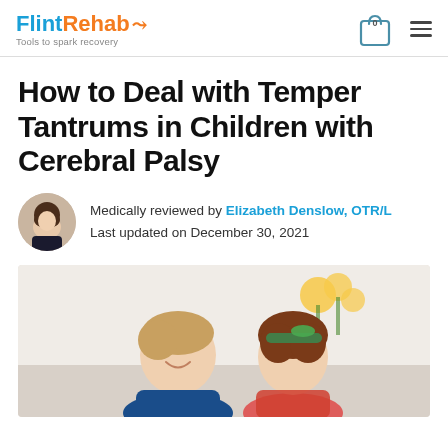FlintRehab — Tools to spark recovery
How to Deal with Temper Tantrums in Children with Cerebral Palsy
Medically reviewed by Elizabeth Denslow, OTR/L
Last updated on December 30, 2021
[Figure (photo): Two children (a boy and a girl) smiling and interacting, with sunflowers in background]